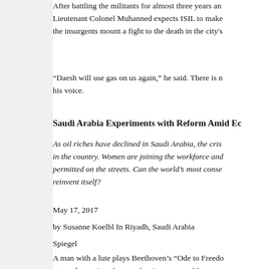After battling the militants for almost three years and Lieutenant Colonel Muhanned expects ISIL to make the insurgents mount a fight to the death in the city's
“Daesh will use gas on us again,” he said. There is n his voice.
Saudi Arabia Experiments with Reform Amid Ec
As oil riches have declined in Saudi Arabia, the cris in the country. Women are joining the workforce and permitted on the streets. Can the world’s most conse reinvent itself?
May 17, 2017
by Susanne Koelbl In Riyadh, Saudi Arabia
Spiegel
A man with a lute plays Beethoven’s “Ode to Freedo on to play a piece from an Iraqi composer. Men are s women as they listen to the music. What’s so specia